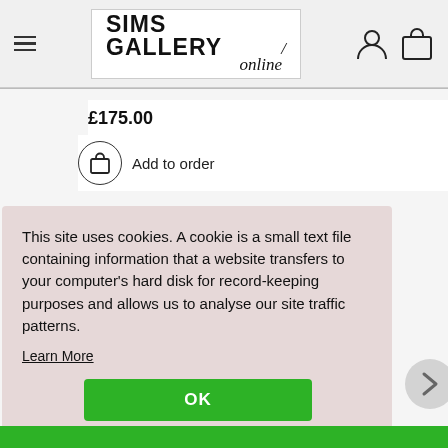SIMS GALLERY online
£175.00
Add to order
This site uses cookies. A cookie is a small text file containing information that a website transfers to your computer's hard disk for record-keeping purposes and allows us to analyse our site traffic patterns.
Learn More
OK